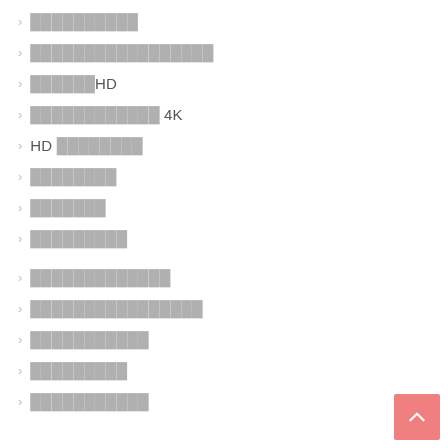██████████
█████████████████
██████HD
████████████ 4K
HD ████████
████████
███████
█████████
█████████████
████████████████
███████████
█████████
███████████